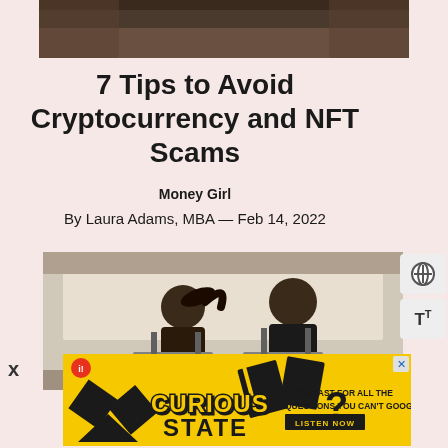[Figure (photo): Top portion of a photo, darkened, partially cropped at the top of the page]
7 Tips to Avoid Cryptocurrency and NFT Scams
Money Girl
By Laura Adams, MBA — Feb 14, 2022
[Figure (photo): Two people running on treadmills in a gym, seen from behind, facing a large window]
[Figure (infographic): Yellow advertisement banner for Curious State podcast with text: A PODCAST FOR ALL THE QUESTIONS YOU CAN'T GOOGLE, LISTEN NOW]